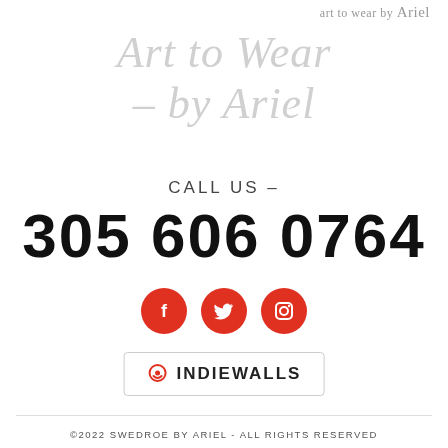art to wear by Ariel
Art to Wear – by Ariel
CALL US –
305 606 0764
[Figure (illustration): Three red circular social media icons: Facebook, Twitter, Instagram]
[Figure (logo): Indiewalls logo badge with chat bubble icon and text INDIEWALLS]
©2022 SWEDROE BY ARIEL - ALL RIGHTS RESERVED